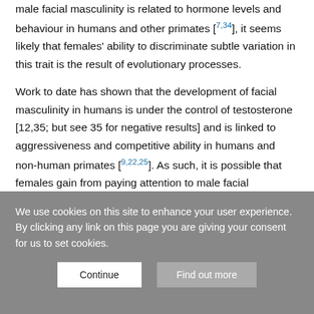male facial masculinity is related to hormone levels and behaviour in humans and other primates [7,34], it seems likely that females' ability to discriminate subtle variation in this trait is the result of evolutionary processes.
Work to date has shown that the development of facial masculinity in humans is under the control of testosterone [12,35; but see 35 for negative results] and is linked to aggressiveness and competitive ability in humans and non-human primates [9,22,25]. As such, it is possible that females gain from paying attention to male facial masculinity because it provides information about the risks of aggression males may present; this explanation has also been proposed to underlie the attentional
We use cookies on this site to enhance your user experience. By clicking any link on this page you are giving your consent for us to set cookies.